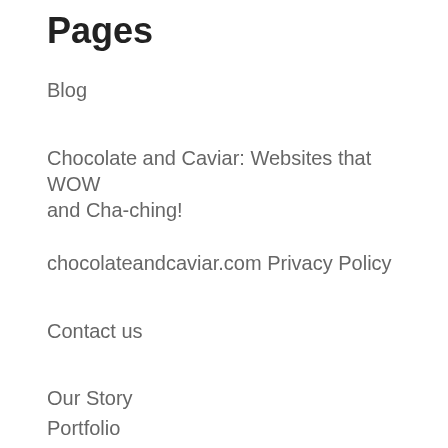Pages
Blog
Chocolate and Caviar: Websites that WOW and Cha-ching!
chocolateandcaviar.com Privacy Policy
Contact us
Our Story
Portfolio